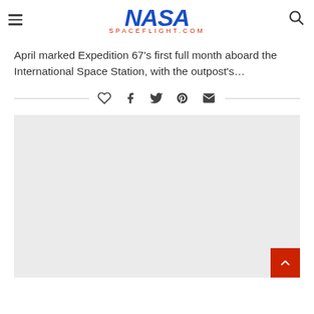NASA SPACEFLIGHT.COM
April marked Expedition 67's first full month aboard the International Space Station, with the outpost's...
[Figure (other): Social sharing icons: heart/like, Facebook, Twitter, Pinterest, email]
[Figure (photo): Large image placeholder area (light gray background), partially visible, representing an article image]